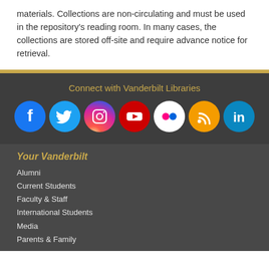materials. Collections are non-circulating and must be used in the repository's reading room. In many cases, the collections are stored off-site and require advance notice for retrieval.
Connect with Vanderbilt Libraries
[Figure (infographic): Seven social media icons in colored circles: Facebook (blue), Twitter (blue), Instagram (gradient purple-pink-orange), YouTube (red), Flickr (white with colored dots), RSS (orange), LinkedIn (teal)]
Your Vanderbilt
Alumni
Current Students
Faculty & Staff
International Students
Media
Parents & Family